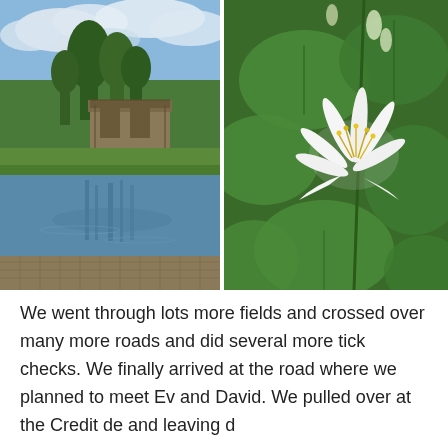[Figure (photo): Outdoor scene with a pond or lake in the foreground, a large wooden building or barn structure in the background, surrounded by tall trees under a partly cloudy blue sky. The water reflects the trees and building.]
[Figure (photo): Close-up macro photo of a white honeysuckle flower with yellow stamens, surrounded by green leaves on a vine.]
We went through lots more fields and crossed over many more roads and did several more tick checks. We finally arrived at the road where we planned to meet Ev and David. We pulled over at the Credit de and leaving d